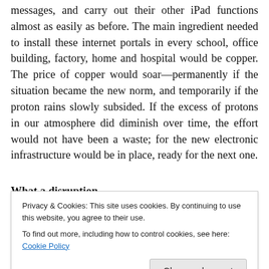messages, and carry out their other iPad functions almost as easily as before. The main ingredient needed to install these internet portals in every school, office building, factory, home and hospital would be copper. The price of copper would soar—permanently if the situation became the new norm, and temporarily if the proton rains slowly subsided. If the excess of protons in our atmosphere did diminish over time, the effort would not have been a waste; for the new electronic infrastructure would be in place, ready for the next one.
What a disruption...
Privacy & Cookies: This site uses cookies. By continuing to use this website, you agree to their use. To find out more, including how to control cookies, see here: Cookie Policy
communication, inoperable military satellites that mi...